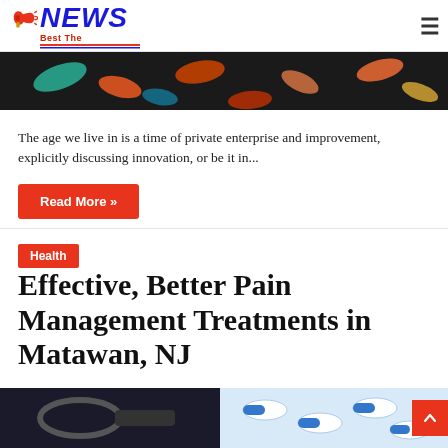Best The NEWS
[Figure (photo): Close-up photo of colorful pills/capsules on dark background]
The age we live in is a time of private enterprise and improvement, explicitly discussing innovation, or be it in...
Read More »
Health
Effective, Better Pain Management Treatments in Matawan, NJ
February 23, 2021  438
[Figure (photo): Stethoscope next to blue and white capsule pills on a blue surface]